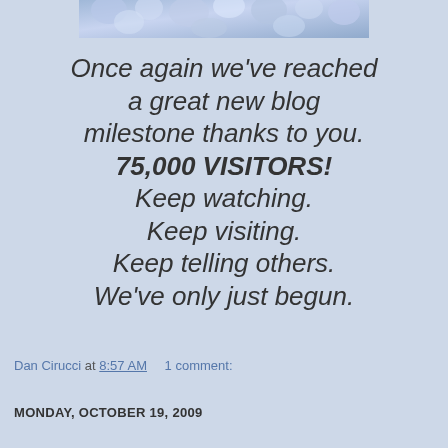[Figure (photo): Blue/purple floral or crystal decorative header image]
Once again we've reached a great new blog milestone thanks to you. 75,000 VISITORS! Keep watching. Keep visiting. Keep telling others. We've only just begun.
Dan Cirucci at 8:57 AM    1 comment:
MONDAY, OCTOBER 19, 2009